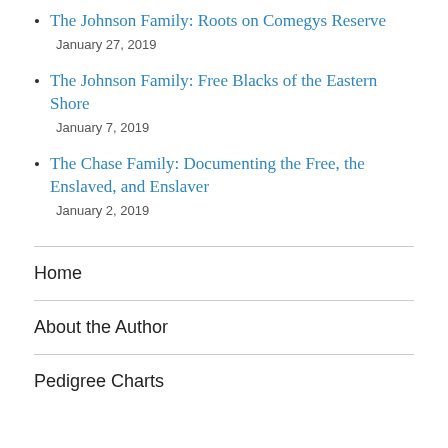The Johnson Family: Roots on Comegys Reserve
January 27, 2019
The Johnson Family: Free Blacks of the Eastern Shore
January 7, 2019
The Chase Family: Documenting the Free, the Enslaved, and Enslaver
January 2, 2019
Home
About the Author
Pedigree Charts